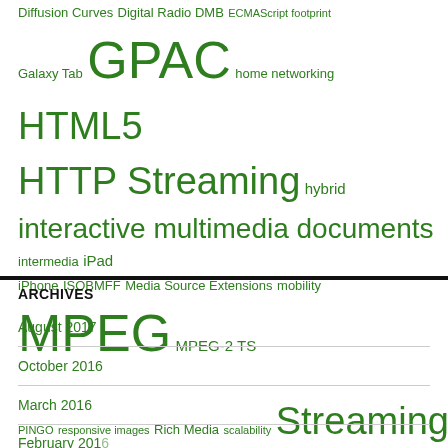[Figure (infographic): Tag cloud with terms of varying sizes in green: Diffusion Curves, Digital Radio DMB, ECMAScript footprint, Galaxy Tab, GPAC, home networking, HTML5, HTTP Streaming, hybrid, interactive multimedia documents, intermedia, iPad, iPhone, ISOBMFF, Media Source Extensions, mobility, MPEG, MPEG-2 TS, PINGO, responsive images, Rich Media, scalability, Streaming, SVG, synchronization, Testing, UPnP, Vector Graphics, video, WebVTT, widgets, XML]
ARCHIVES
August 2017
October 2016
March 2016